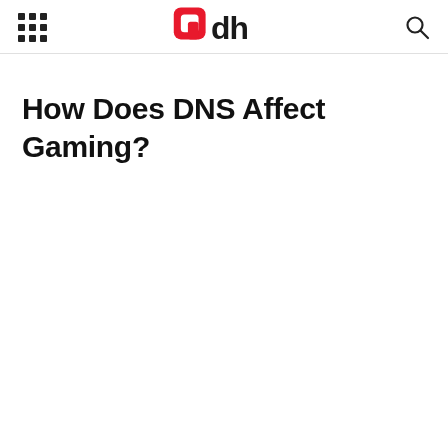9dh [logo with grid menu and search icon]
How Does DNS Affect Gaming?